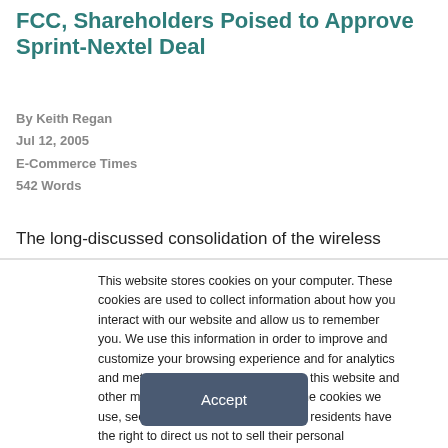FCC, Shareholders Poised to Approve Sprint-Nextel Deal
By Keith Regan
Jul 12, 2005
E-Commerce Times
542 Words
The long-discussed consolidation of the wireless
This website stores cookies on your computer. These cookies are used to collect information about how you interact with our website and allow us to remember you. We use this information in order to improve and customize your browsing experience and for analytics and metrics about our visitors both on this website and other media. To find out more about the cookies we use, see our Privacy Policy. California residents have the right to direct us not to sell their personal information to third parties by filing an Opt-Out Request: Do Not Sell My Personal Info.
Accept